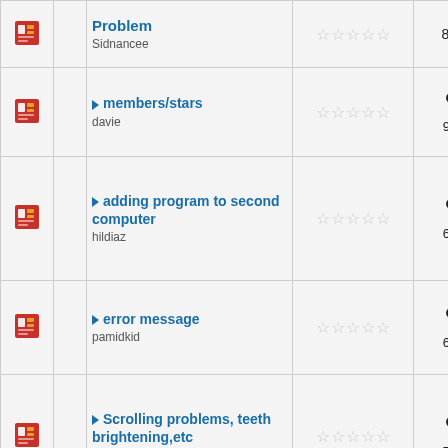|  |  | Topic | Rating | Stats | Last Post |
| --- | --- | --- | --- | --- | --- |
| [icon] |  | Problem
Sidnancee | ☆☆☆☆☆ | 8,327 | PM |
| [icon] |  | members/stars
davie | ☆☆☆☆☆ | 2 / 9,384 | Ga... 08- AM |
| [icon] |  | adding program to second computer
hildiaz | ☆☆☆☆☆ | 1 / 6,649 | wil... 10- AM |
| [icon] |  | error message
pamidkid | ☆☆☆☆☆ | 1 / 6,719 | Sa... 04- AM |
| [icon] |  | Scrolling problems, teeth brightening,etc
Meghanfish | ☆☆☆☆☆ | 1 / 7,114 | Leo... 04- PM |
| [icon] |  | V11 Update now it does not | ☆☆☆☆☆ | 1 | wil... |